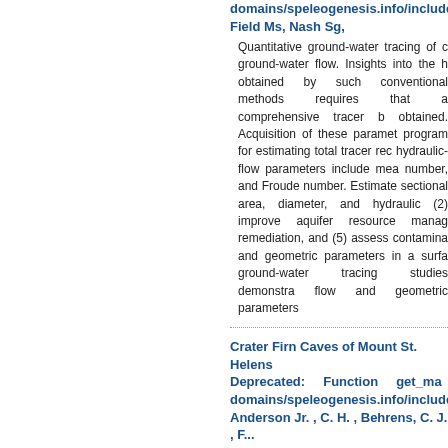domains/speleogenesis.info/include/f... Field Ms, Nash Sg,
Quantitative ground-water tracing of c... ground-water flow. Insights into the h... obtained by such conventional methods... requires that a comprehensive tracer b... obtained. Acquisition of these paramet... program for estimating total tracer rec... hydraulic-flow parameters include mea... number, and Froude number. Estimate... sectional area, diameter, and hydraulic... (2) improve aquifer resource manag... remediation, and (5) assess contamina... and geometric parameters in a surfa... ground-water tracing studies demonstra... flow and geometric parameters
Crater Firn Caves of Mount St. Helens Deprecated: Function get_ma... domains/speleogenesis.info/include/f... Anderson Jr. , C. H. , Behrens, C. J. , F...
Systematic observation, photo-reconnа... Helens, Washington, from 1981 throug... the United States Forest Service and M...
Estimating subsurface fissure apertur... Deprecated: Function get_ma...